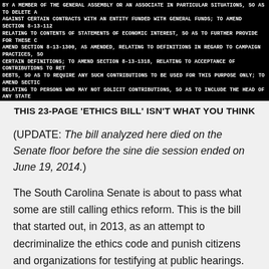[Figure (screenshot): Scanned image of legislative bill text on black background, showing dense uppercase legal text about ethics bill amendments to South Carolina code sections.]
THIS 23-PAGE 'ETHICS BILL' ISN'T WHAT YOU THINK
(UPDATE: The bill analyzed here died on the Senate floor before the sine die session ended on June 19, 2014.)
The South Carolina Senate is about to pass what some are still calling ethics reform. This is the bill that started out, in 2013, as an attempt to decriminalize the ethics code and punish citizens and organizations for testifying at public hearings. It's also the bill repeatedly rewritten in secret caucus and leadership meetings. And it's the bill Speaker Bobby Harrell's allies have used — repeatedly — to